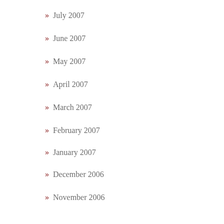» July 2007
» June 2007
» May 2007
» April 2007
» March 2007
» February 2007
» January 2007
» December 2006
» November 2006